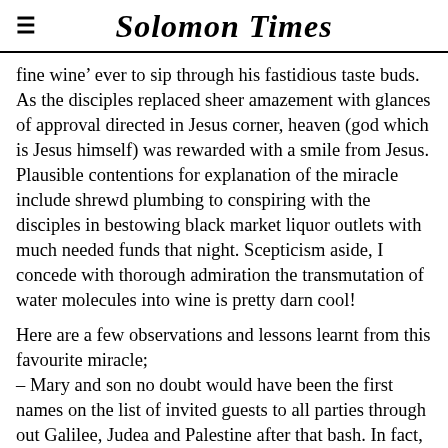Solomon Times
fine wine’ ever to sip through his fastidious taste buds. As the disciples replaced sheer amazement with glances of approval directed in Jesus corner, heaven (god which is Jesus himself) was rewarded with a smile from Jesus. Plausible contentions for explanation of the miracle include shrewd plumbing to conspiring with the disciples in bestowing black market liquor outlets with much needed funds that night. Scepticism aside, I concede with thorough admiration the transmutation of water molecules into wine is pretty darn cool!
Here are a few observations and lessons learnt from this favourite miracle;
– Mary and son no doubt would have been the first names on the list of invited guests to all parties through out Galilee, Judea and Palestine after that bash. In fact, attending uninvited would have been an